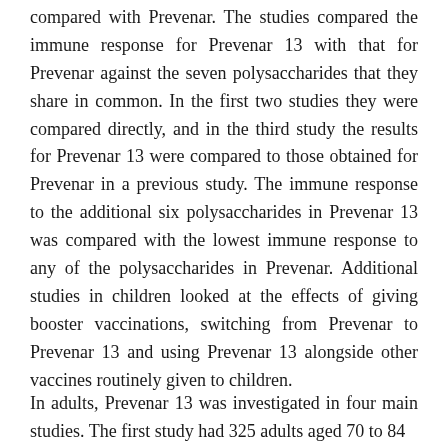compared with Prevenar. The studies compared the immune response for Prevenar 13 with that for Prevenar against the seven polysaccharides that they share in common. In the first two studies they were compared directly, and in the third study the results for Prevenar 13 were compared to those obtained for Prevenar in a previous study. The immune response to the additional six polysaccharides in Prevenar 13 was compared with the lowest immune response to any of the polysaccharides in Prevenar. Additional studies in children looked at the effects of giving booster vaccinations, switching from Prevenar to Prevenar 13 and using Prevenar 13 alongside other vaccines routinely given to children.
In adults, Prevenar 13 was investigated in four main studies. The first study had 325 adults aged 70 to 84